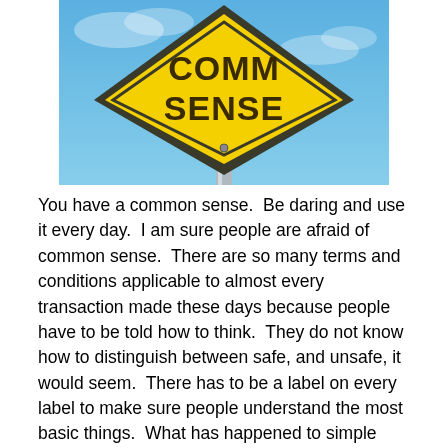[Figure (photo): A yellow diamond-shaped road sign reading 'COMMON SENSE' on a metal pole against a blue sky background.]
You have a common sense.  Be daring and use it every day.  I am sure people are afraid of common sense.  There are so many terms and conditions applicable to almost every transaction made these days because people have to be told how to think.  They do not know how to distinguish between safe, and unsafe, it would seem.  There has to be a label on every label to make sure people understand the most basic things.  What has happened to simple living intelligence?  What are schools teaching children if it is not to think for themselves?  What have parents been teaching their children, if it is not to think for themselves?  Perhaps the label will...